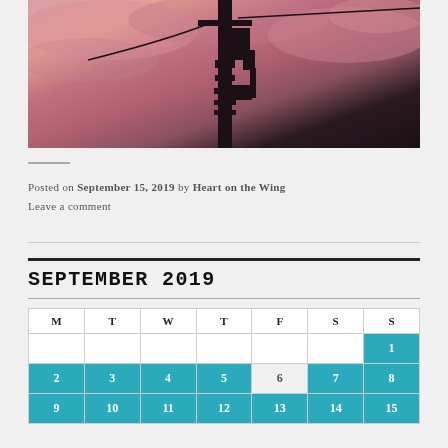[Figure (photo): Silhouette of a power line pole against a pink/red sunset sky with clouds]
Posted on September 15, 2019 by Heart on the Wing
Leave a comment
SEPTEMBER 2019
| M | T | W | T | F | S | S |
| --- | --- | --- | --- | --- | --- | --- |
|  |  |  |  |  |  | 1 |
| 2 | 3 | 4 | 5 | 6 | 7 | 8 |
| 9 | 10 | 11 | 12 | 13 | 14 | 15 |